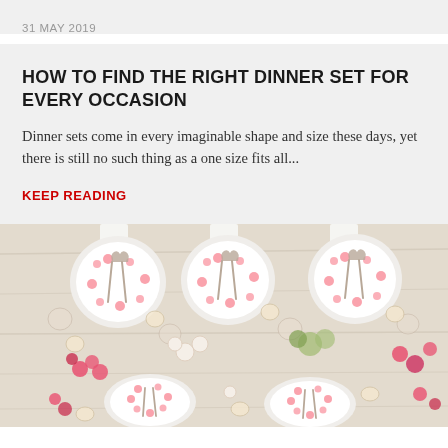31 MAY 2019
HOW TO FIND THE RIGHT DINNER SET FOR EVERY OCCASION
Dinner sets come in every imaginable shape and size these days, yet there is still no such thing as a one size fits all...
KEEP READING
[Figure (photo): Overhead view of a table setting with floral-patterned white plates, silverware, candles, and pink and white flowers arranged on a light wood table.]